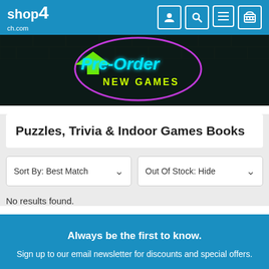shop4ch.com
[Figure (illustration): Dark brick wall background with neon sign text reading 'Pre-Order NEW GAMES' in cyan/teal neon lettering with a green arrow and pink/magenta circular neon outline]
Puzzles, Trivia & Indoor Games Books
Sort By: Best Match | Out Of Stock: Hide
No results found.
Always be the first to know.
Sign up to our email newsletter for discounts and special offers.
Yes, sign me up